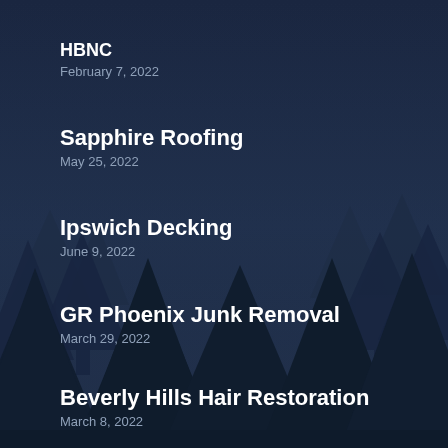[Figure (illustration): Dark navy blue background with silhouettes of pine/fir trees at the bottom and sides, evoking a winter forest at night]
HBNC
February 7, 2022
Sapphire Roofing
May 25, 2022
Ipswich Decking
June 9, 2022
GR Phoenix Junk Removal
March 29, 2022
Beverly Hills Hair Restoration
March 8, 2022